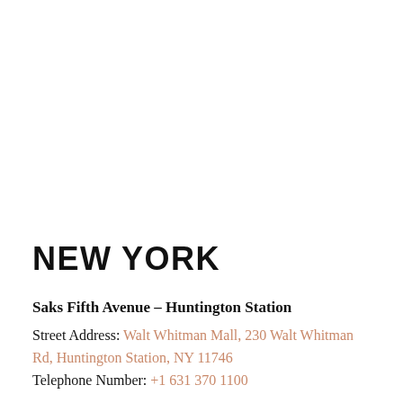NEW YORK
Saks Fifth Avenue – Huntington Station
Street Address: Walt Whitman Mall, 230 Walt Whitman Rd, Huntington Station, NY 11746
Telephone Number: +1 631 370 1100